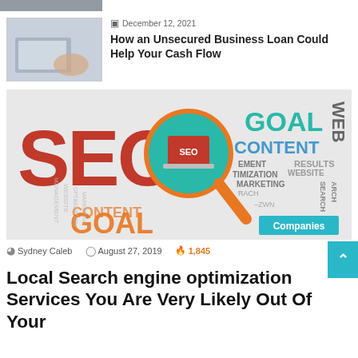[Figure (photo): Partial top image strip, cropped thumbnail]
[Figure (photo): Thumbnail image labeled SECURED VS. UNSECURED BUSINESS LOANS showing laptop and hands]
December 12, 2021
How an Unsecured Business Loan Could Help Your Cash Flow
[Figure (illustration): SEO word cloud illustration with magnifying glass, SEO laptop image, and colorful keywords: GOAL, WEB, CONTENT, RESULTS, WEBSITE, MANAGEMENT, OPTIMIZATION, MARKETING, SEARCH, ARCH. Companies badge overlay.]
Sydney Caleb  August 27, 2019  1,845
Local Search engine optimization Services You Are Very Likely Out Of Your